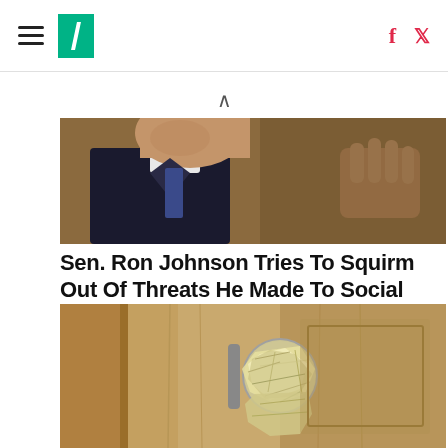HuffPost navigation with hamburger menu, logo, facebook and twitter icons
[Figure (photo): Close-up photo of Sen. Ron Johnson at a hearing, face partially cropped, hand raised near face, wearing dark suit with white shirt]
Sen. Ron Johnson Tries To Squirm Out Of Threats He Made To Social Security
HuffPost
[Figure (photo): Close-up photo of a door knob wrapped in crumpled aluminum foil on a golden/tan colored door]